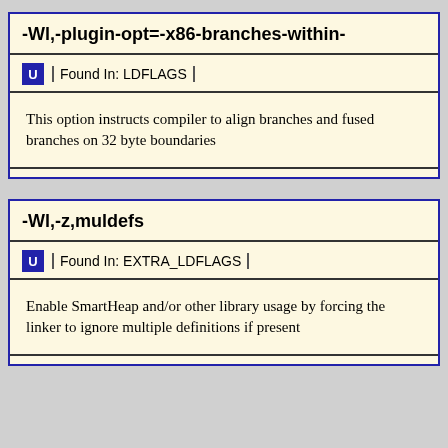-Wl,-plugin-opt=-x86-branches-within-
Found In: LDFLAGS
This option instructs compiler to align branches and fused branches on 32 byte boundaries
-Wl,-z,muldefs
Found In: EXTRA_LDFLAGS
Enable SmartHeap and/or other library usage by forcing the linker to ignore multiple definitions if present